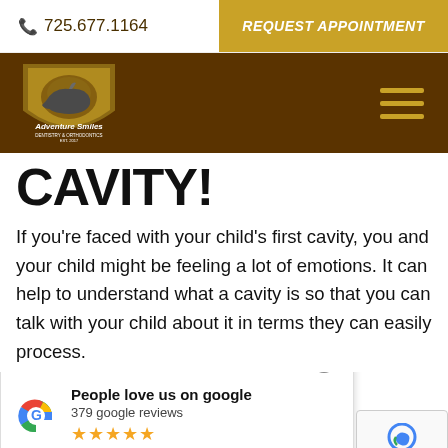725.677.1164   REQUEST APPOINTMENT
[Figure (logo): Adventure Smiles Dentistry & Orthodontics logo with rhino shield emblem]
CAVITY!
If you're faced with your child's first cavity, you and your child might be feeling a lot of emotions. It can help to understand what a cavity is so that you can talk with your child about it in terms they can easily process.
[Figure (screenshot): Google reviews widget showing 'People love us on google', 379 google reviews, 5 stars]
forms in the e enamel) of a